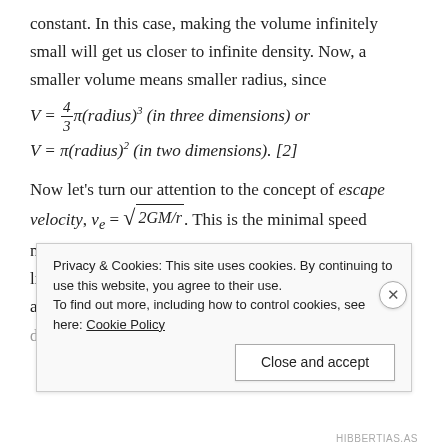constant. In this case, making the volume infinitely small will get us closer to infinite density. Now, a smaller volume means smaller radius, since
Now let's turn our attention to the concept of escape velocity, v_e = \sqrt{2GM/r}. This is the minimal speed needed to get out of an object's gravitational field, a bit like the minimal speed that little dinosaurs needed to achieve in order to escape being eaten by big
(Th... [partially obscured by cookie banner]
Privacy & Cookies: This site uses cookies. By continuing to use this website, you agree to their use.
To find out more, including how to control cookies, see here: Cookie Policy